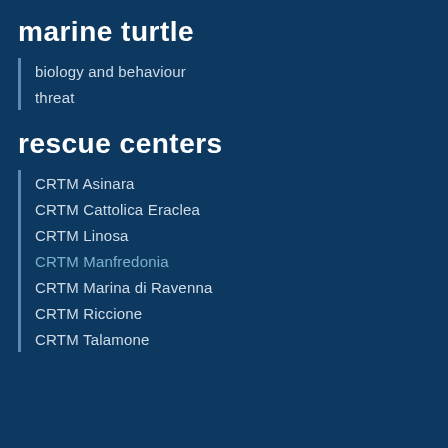marine turtle
biology and behaviour
threat
rescue centers
CRTM Asinara
CRTM Cattolica Eraclea
CRTM Linosa
CRTM Manfredonia
CRTM Marina di Ravenna
CRTM Riccione
CRTM Talamone